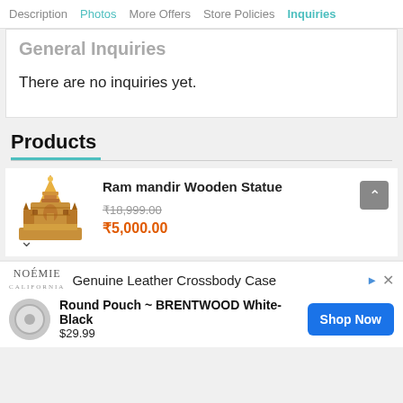Description  Photos  More Offers  Store Policies  Inquiries
General Inquiries
There are no inquiries yet.
Products
Ram mandir Wooden Statue
₹18,999.00
₹5,000.00
[Figure (photo): Photo of Ram Mandir Wooden Statue, a golden temple model]
Genuine Leather Crossbody Case
Round Pouch ~ BRENTWOOD White-Black
$29.99